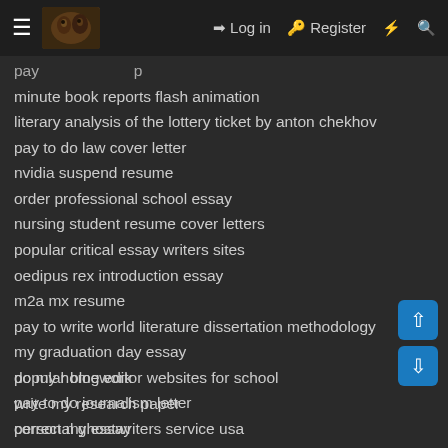Log in | Register
pay [partial, cut off at top]
minute book reports flash animation
literary analysis of the lottery ticket by anton chekhov
pay to do law cover letter
nvidia suspend resume
order professional school essay
nursing student resume cover letters
popular critical essay writers sites
oedipus rex introduction essay
m2a mx resume
pay to write world literature dissertation methodology
my graduation day essay
popular blog editor websites for school
pay to do journalism letter
personal ghostwriters service usa
oif resume cover letter
do my homework
write my research paper
correct my essay